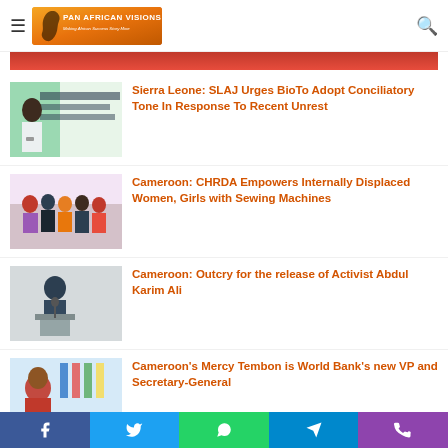Pan African Visions - Making Africa Success Story Mine
[Figure (photo): Red flag/banner image (partially visible at top)]
[Figure (photo): Man speaking at microphone at SLAJ press event with banner behind him]
Sierra Leone: SLAJ Urges BioTo Adopt Conciliatory Tone In Response To Recent Unrest
[Figure (photo): Group of women and men at Cameroon CHRDA sewing machine empowerment event]
Cameroon: CHRDA Empowers Internally Displaced Women, Girls with Sewing Machines
[Figure (photo): Man standing at podium in room, Activist Abdul Karim Ali related image]
Cameroon: Outcry for the release of Activist Abdul Karim Ali
[Figure (photo): Woman in red jacket speaking, Mercy Tembon World Bank VP image]
Cameroon's Mercy Tembon is World Bank's new VP and Secretary-General
Facebook | Twitter | WhatsApp | Telegram | Phone